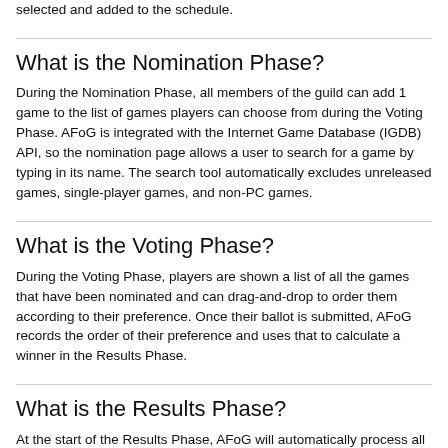selected and added to the schedule.
What is the Nomination Phase?
During the Nomination Phase, all members of the guild can add 1 game to the list of games players can choose from during the Voting Phase. AFoG is integrated with the Internet Game Database (IGDB) API, so the nomination page allows a user to search for a game by typing in its name. The search tool automatically excludes unreleased games, single-player games, and non-PC games.
What is the Voting Phase?
During the Voting Phase, players are shown a list of all the games that have been nominated and can drag-and-drop to order them according to their preference. Once their ballot is submitted, AFoG records the order of their preference and uses that to calculate a winner in the Results Phase.
What is the Results Phase?
At the start of the Results Phase, AFoG will automatically process all the ballots that have been submitted to calculate the results and